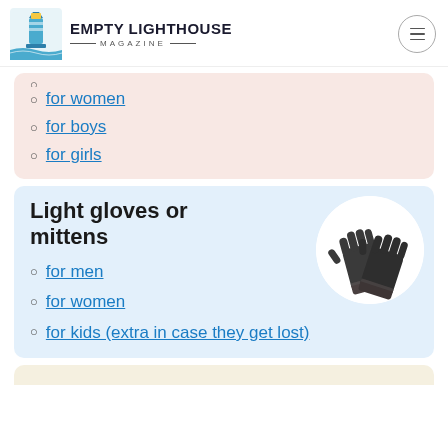Empty Lighthouse Magazine
for women
for boys
for girls
Light gloves or mittens
[Figure (photo): A pair of dark grey knit gloves photographed from above, crossed over each other, displayed in a white circular background.]
for men
for women
for kids (extra in case they get lost)